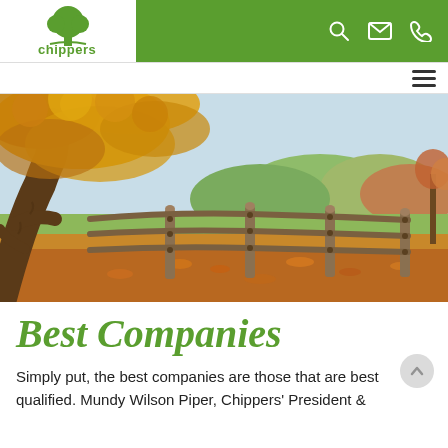Chippers - a Davey company header with logo, search, email, phone icons and hamburger menu
[Figure (photo): Autumn landscape photo showing a large tree with golden/orange leaves next to a wooden split-rail fence, fallen leaves on the ground, green fields and colorful trees in the background under a bright sky]
Best Companies
Simply put, the best companies are those that are best qualified. Mundy Wilson Piper, Chippers' President &